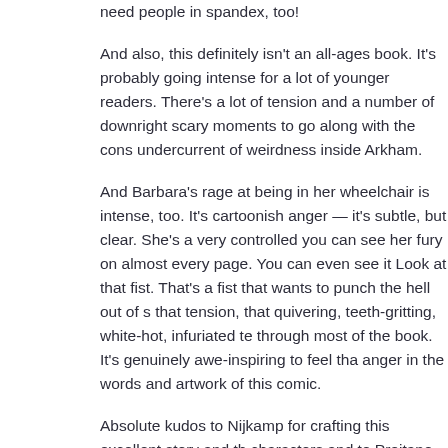need people in spandex, too!
And also, this definitely isn't an all-ages book. It's probably going to be too intense for a lot of younger readers. There's a lot of tension and a number of downright scary moments to go along with the constant undercurrent of weirdness inside Arkham.
And Barbara's rage at being in her wheelchair is intense, too. It's not cartoonish anger — it's subtle, but clear. She's a very controlled person, but you can see her fury on almost every page. You can even see it in the cover. Look at that fist. That's a fist that wants to punch the hell out of something. And that tension, that quivering, teeth-gritting, white-hot, infuriated tension — it runs through most of the book. It's genuinely awe-inspiring to feel that carefully crafted anger in the words and artwork of this comic.
Absolute kudos to Nijkamp for crafting this excellent story and these characters and to Preitano for the great art, sometimes realistic, sometimes nightmarish and jagged and cartoony. This is a powerful, frightening and glorious book. Go pick it up.
Comments off